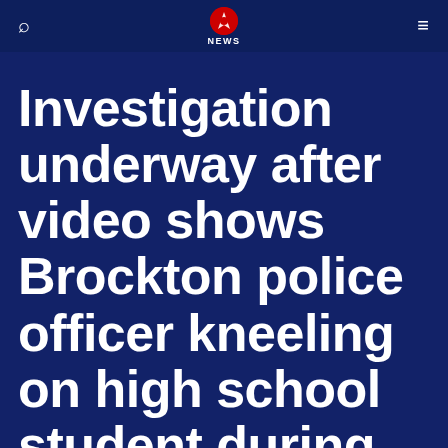NEWS
Investigation underway after video shows Brockton police officer kneeling on high school student during arrest